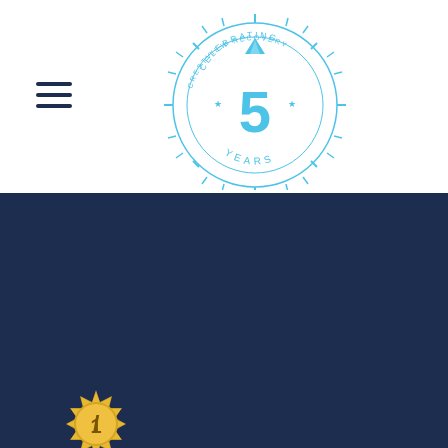[Figure (logo): Crestview Recovery celebrating 5 years logo - circular badge with sun rays, mountain icon, text 'CRESTVIEW RECOVERY', 'CELEBRATING', '5', 'YEARS' in blue]
[Figure (illustration): Hamburger menu icon (three horizontal lines) in dark navy blue]
[Figure (logo): Gold circular award/seal badge with number 1 and ribbon]
[Figure (logo): National Association of Addiction Treatment Providers (NAATP) logo - geometric hexagon icon in orange/brown and grey with white text on dark navy background]
[Figure (logo): LegitScript certified badge - hexagonal shape in blue with text 'LegitScript', 'CRESTVIEWRECOVERY.COM', '08/30/22', 'Certified']
[Figure (illustration): Teal/cyan circle with white phone/call icon with signal waves]